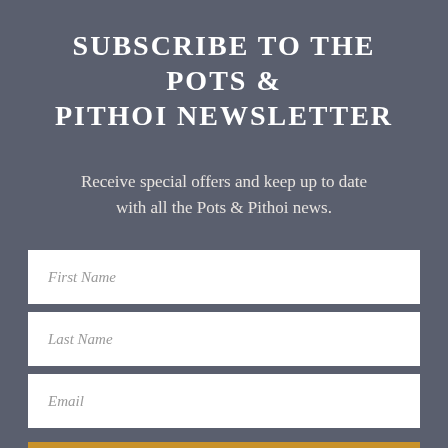SUBSCRIBE TO THE POTS & PITHOI NEWSLETTER
Receive special offers and keep up to date with all the Pots & Pithoi news.
First Name
Last Name
Email